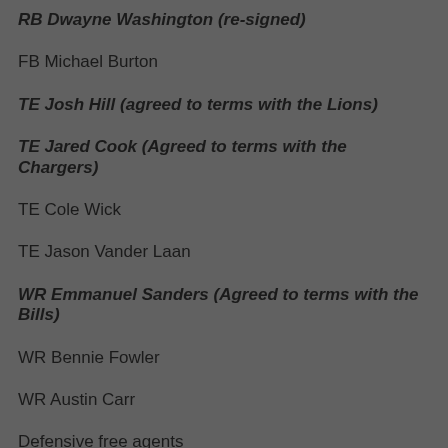RB Dwayne Washington (re-signed)
FB Michael Burton
TE Josh Hill (agreed to terms with the Lions)
TE Jared Cook (Agreed to terms with the Chargers)
TE Cole Wick
TE Jason Vander Laan
WR Emmanuel Sanders (Agreed to terms with the Bills)
WR Bennie Fowler
WR Austin Carr
Defensive free agents